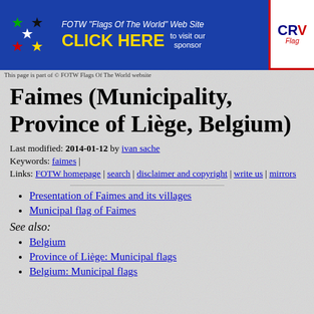[Figure (other): FOTW Flags Of The World website banner with stars logo, CLICK HERE text in yellow, 'to visit our sponsor' text, and CRW Flags logo on right]
This page is part of © FOTW Flags Of The World website
Faimes (Municipality, Province of Liège, Belgium)
Last modified: 2014-01-12 by ivan sache
Keywords: faimes |
Links: FOTW homepage | search | disclaimer and copyright | write us | mirrors
Presentation of Faimes and its villages
Municipal flag of Faimes
See also:
Belgium
Province of Liège: Municipal flags
Belgium: Municipal flags